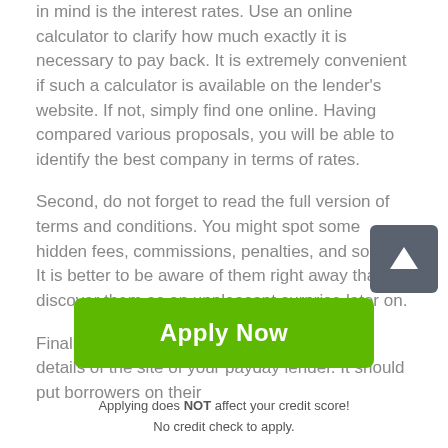in mind is the interest rates. Use an online calculator to clarify how much exactly it is necessary to pay back. It is extremely convenient if such a calculator is available on the lender's website. If not, simply find one online. Having compared various proposals, you will be able to identify the best company in terms of rates.
Second, do not forget to read the full version of terms and conditions. You might spot some hidden fees, commissions, penalties, and so on. It is better to be aware of them right away than to discover them as an unpleasant surprise later on.
Finally, check out the license and other legal details of the site of your payday lender. It should put borrowers on their
[Figure (other): Scroll-to-top button: a dark grey rounded square with a white upward arrow icon]
Apply Now
Applying does NOT affect your credit score!
No credit check to apply.